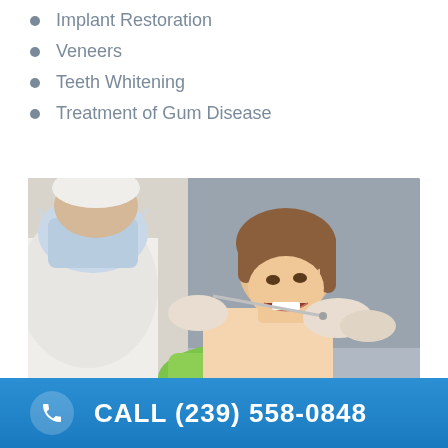Implant Restoration
Veneers
Teeth Whitening
Treatment of Gum Disease
[Figure (photo): A dentist in a white coat and blue surgical mask examines a young girl sitting in a green dental chair with her mouth open, using dental tools.]
CALL (239) 558-0848